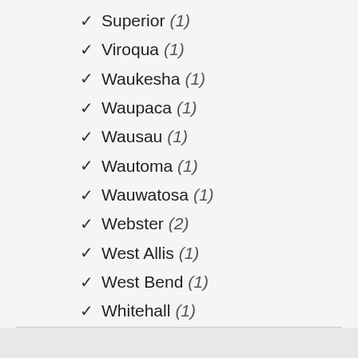✓ Superior (1)
✓ Viroqua (1)
✓ Waukesha (1)
✓ Waupaca (1)
✓ Wausau (1)
✓ Wautoma (1)
✓ Wauwatosa (1)
✓ Webster (2)
✓ West Allis (1)
✓ West Bend (1)
✓ Whitehall (1)
✓ Wisconsin Rapids (1)